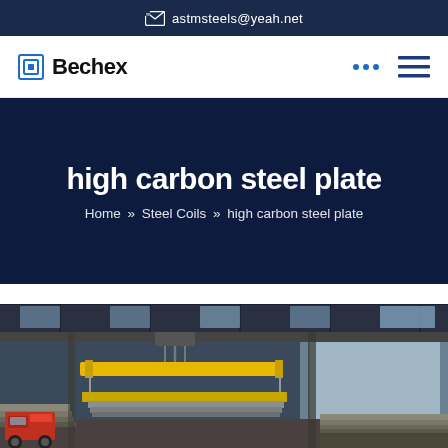astmsteels@yeah.net
Bechex
high carbon steel plate
Home » Steel Coils » high carbon steel plate
[Figure (photo): Industrial steel factory interior showing overhead crane with yellow beam carrying steel plates, with red industrial vehicles and stacked steel materials in the foreground]